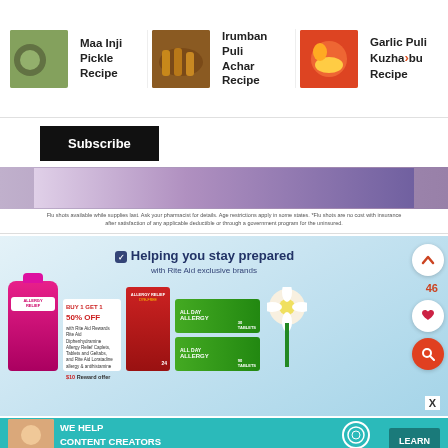[Figure (screenshot): Recipe navigation bar with three items: Maa Inji Pickle Recipe, Irumban Puli Achar Recipe, Garlic Puli Kuzhambu Recipe, each with a food thumbnail image]
Subscribe
[Figure (photo): Flu shot advertisement image showing a person getting a vaccination]
Flu shots available while supplies last. Ask your pharmacist for details. Age restrictions apply in some states. *Flu shots are no cost with insurance after satisfaction of any applicable deductible or through a government program for the uninsured.
[Figure (screenshot): Rite Aid advertisement: Helping you stay prepared with Rite Aid exclusive brands. Shows allergy relief products including a pink bottle, red box (Allergy Relief DYE-FREE), and green boxes (All Day Allergy 30 tablets, 90 tablets). Buy 1 Get 1 50% OFF promotion, $10 reward offer.]
[Figure (screenshot): SHE Partner Network banner advertisement: We Help Content Creators Grow Businesses Through... with Learn More button]